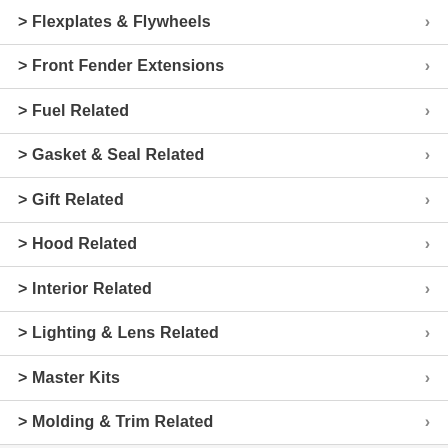> Flexplates & Flywheels
> Front Fender Extensions
> Fuel Related
> Gasket & Seal Related
> Gift Related
> Hood Related
> Interior Related
> Lighting & Lens Related
> Master Kits
> Molding & Trim Related